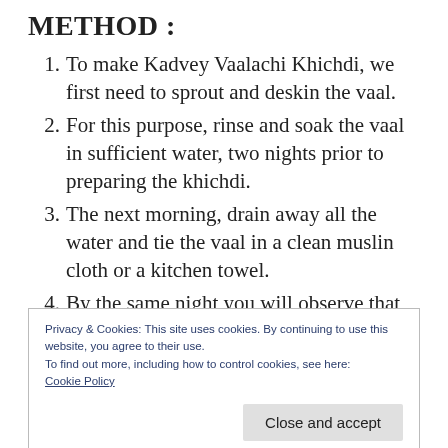METHOD :
To make Kadvey Vaalachi Khichdi, we first need to sprout and deskin the vaal.
For this purpose, rinse and soak the vaal in sufficient water, two nights prior to preparing the khichdi.
The next morning, drain away all the water and tie the vaal in a clean muslin cloth or a kitchen towel.
By the same night you will observe that the
Privacy & Cookies: This site uses cookies. By continuing to use this website, you agree to their use.
To find out more, including how to control cookies, see here: Cookie Policy
aside